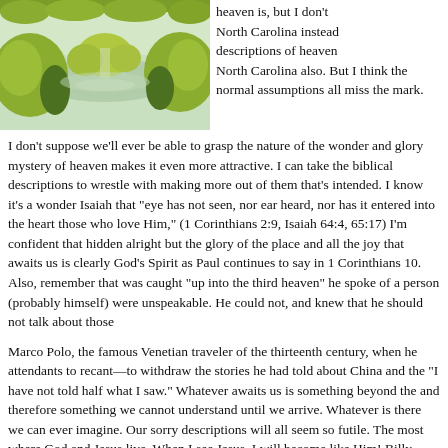[Figure (photo): Colorful landscape painting or photo showing green rolling hills/bushes with a reflecting pool or water feature, bright yellow-green foliage, and a light sky background.]
heaven is, but I don't North Carolina instead descriptions of heaven North Carolina also. But I think the normal assumptions all miss the mark.
I don't suppose we'll ever be able to grasp the nature of the wonder and glory mystery of heaven makes it even more attractive. I can take the biblical descriptions to wrestle with making more out of them that's intended. I know it's a wonder Isaiah that "eye has not seen, nor ear heard, nor has it entered into the heart those who love Him," (1 Corinthians 2:9, Isaiah 64:4, 65:17) I'm confident that hidden alright but the glory of the place and all the joy that awaits us is clearly God's Spirit as Paul continues to say in 1 Corinthians 10. Also, remember that was caught "up into the third heaven" he spoke of a person (probably himself) were unspeakable. He could not, and knew that he should not talk about those things.
Marco Polo, the famous Venetian traveler of the thirteenth century, when he attendants to recant—to withdraw the stories he had told about China and the "I have not told half what I saw." Whatever awaits us is something beyond the and therefore something we cannot understand until we arrive. Whatever is there we can ever imagine. Our sorry descriptions will all seem so futile. The most where God and Jesus live. When I see Jesus, I will become like Him! Billy Graham Aflame, "Heaven will be more modern and up-to-date than any of the present will be a place to challenge the creative genius of the unfettered mind of redeemed made supremely attractive by the presence of Christ."